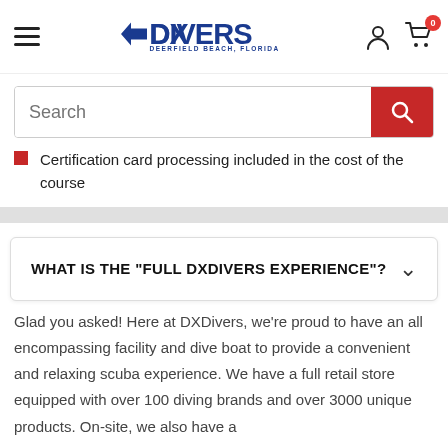DXDivers — Deerfield Beach, Florida — navigation header with hamburger menu, logo, user icon, cart icon (0 items)
[Figure (screenshot): Search bar with red search button and magnifying glass icon]
Certification card processing included in the cost of the course
WHAT IS THE "FULL DXDIVERS EXPERIENCE"?
Glad you asked! Here at DXDivers, we're proud to have an all encompassing facility and dive boat to provide a convenient and relaxing scuba experience. We have a full retail store equipped with over 100 diving brands and over 3000 unique products. On-site, we also have a